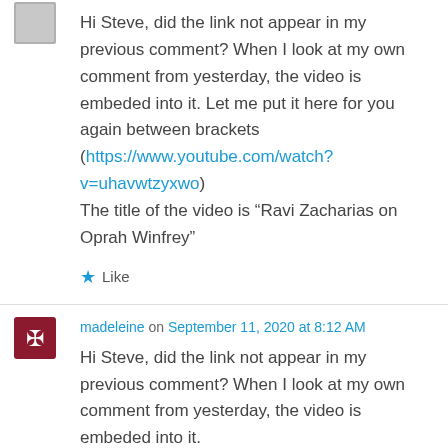Hi Steve, did the link not appear in my previous comment? When I look at my own comment from yesterday, the video is embeded into it. Let me put it here for you again between brackets (https://www.youtube.com/watch?v=uhavwtzyxwo)
The title of the video is “Ravi Zacharias on Oprah Winfrey”
★ Like
madeleine on September 11, 2020 at 8:12 AM
Hi Steve, did the link not appear in my previous comment? When I look at my own comment from yesterday, the video is embeded into it.